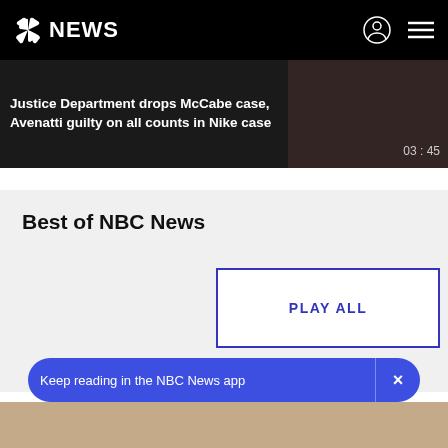NBC NEWS
Justice Department drops McCabe case, Avenatti guilty on all counts in Nike case
Best of NBC News
[Figure (other): PLAY ALL button for NBC News video playlist]
Keep reading in the NBC News app